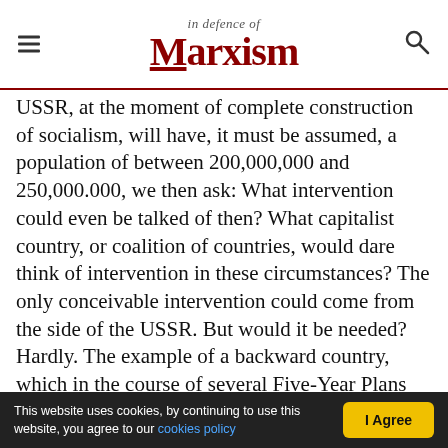In Defence of Marxism
USSR, at the moment of complete construction of socialism, will have, it must be assumed, a population of between 200,000,000 and 250,000.000, we then ask: What intervention could even be talked of then? What capitalist country, or coalition of countries, would dare think of intervention in these circumstances? The only conceivable intervention could come from the side of the USSR. But would it be needed? Hardly. The example of a backward country, which in the course of several Five-Year Plans was able to construct a mighty socialist society with its own forces, would
This website uses cookies, by continuing to use this website, you agree to our cookies policy  I Agree